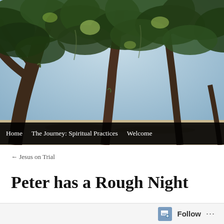[Figure (photo): Upward view of large oak trees with sprawling branches against a bright sky, dappled sunlight through dense canopy, road or pathway visible below]
Home   The Journey: Spiritual Practices   Welcome
← Jesus on Trial
Peter has a Rough Night